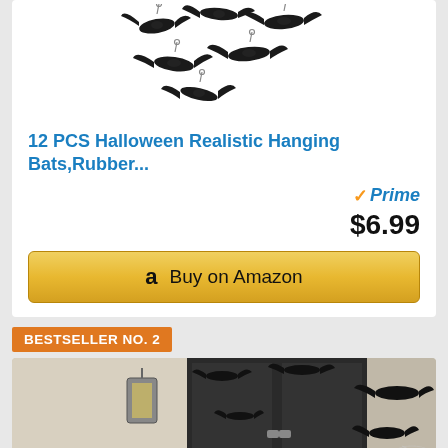[Figure (photo): 12 black rubber hanging bats ornaments arranged in a group on white background]
12 PCS Halloween Realistic Hanging Bats,Rubber...
[Figure (logo): Amazon Prime badge with orange checkmark and blue Prime text]
$6.99
[Figure (other): Buy on Amazon button with Amazon logo]
BESTSELLER NO. 2
[Figure (photo): Halloween decoration scene showing a front door with black bat cutouts on walls and door; row of orange pumpkin jack-o-lanterns across the bottom with green stems]